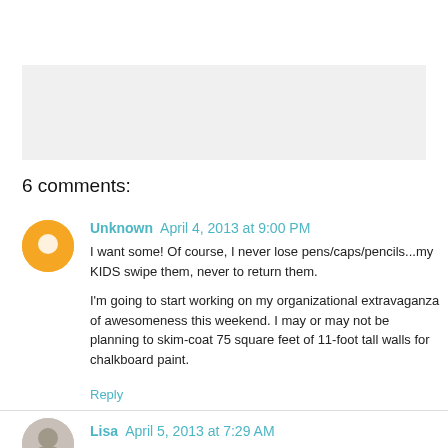[Figure (other): Gray placeholder box (image area)]
6 comments:
Unknown April 4, 2013 at 9:00 PM
I want some! Of course, I never lose pens/caps/pencils...my KIDS swipe them, never to return them.

I'm going to start working on my organizational extravaganza of awesomeness this weekend. I may or may not be planning to skim-coat 75 square feet of 11-foot tall walls for chalkboard paint.
Reply
Lisa April 5, 2013 at 7:29 AM